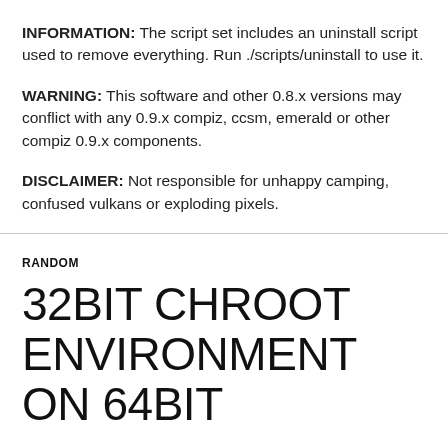INFORMATION: The script set includes an uninstall script used to remove everything. Run ./scripts/uninstall to use it.
WARNING: This software and other 0.8.x versions may conflict with any 0.9.x compiz, ccsm, emerald or other compiz 0.9.x components.
DISCLAIMER: Not responsible for unhappy camping, confused vulkans or exploding pixels.
RANDOM
32BIT CHROOT ENVIRONMENT ON 64BIT